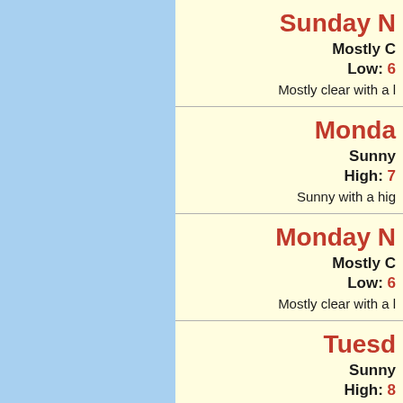[Figure (other): Light blue sidebar panel on the left side of the page]
Sunday N...
Mostly C... Low: 60... Mostly clear with a l...
Monday...
Sunny... High: 7... Sunny with a hig...
Monday N...
Mostly C... Low: 60... Mostly clear with a l...
Tuesd...
Sunny... High: 8... Sunny with a hig...